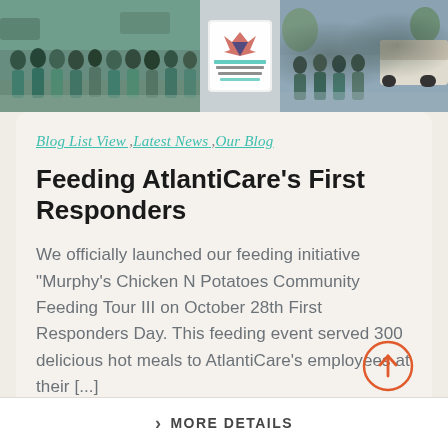[Figure (photo): Group photo of healthcare workers and first responders outdoors, split across three panels — left panel shows a large group in scrubs and masks, middle panel shows a sign reading 'Grateful & Thankful For All That You Do AtlantiCare', right panel shows another group near a vehicle.]
Blog List View , Latest News , Our Blog
Feeding AtlantiCare's First Responders
We officially launched our feeding initiative “Murphy’s Chicken N Potatoes Community Feeding Tour III on October 28th First Responders Day. This feeding event served 300 delicious hot meals to AtlantiCare’s employees at their [...]
> MORE DETAILS